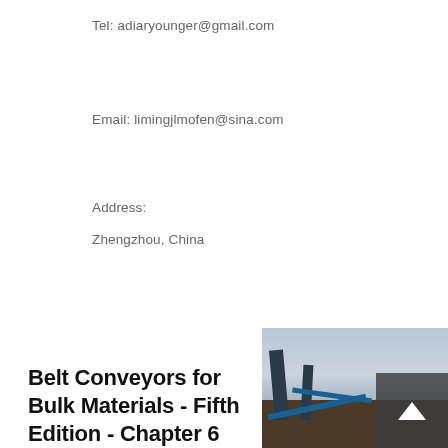Tel: adiaryounger@gmail.com
Email: limingjlmofen@sina.com
Address:
Zhengzhou, China
Belt Conveyors for Bulk Materials - Fifth Edition - Chapter 6
[Figure (photo): Industrial conveyor belt structure at an outdoor facility, with steel framework and conveyors visible against a cloudy sky]